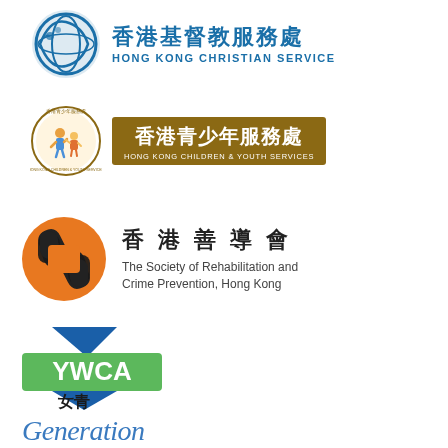[Figure (logo): Hong Kong Christian Service logo — circular blue globe icon with 香港基督教服務處 in blue Chinese characters and HONG KONG CHRISTIAN SERVICE in blue English text]
[Figure (logo): Hong Kong Children & Youth Services logo — circular badge with children illustration, 香港青少年服務處 on brown background and HONG KONG CHILDREN & YOUTH SERVICES in smaller text]
[Figure (logo): The Society of Rehabilitation and Crime Prevention, Hong Kong logo — orange circle with black interlocking hands symbol, 香港善導會 in Chinese and English subtitle]
[Figure (logo): YWCA 女青 logo — green rectangle with YWCA text and blue triangular shapes]
[Figure (logo): Generation logo in blue italic script font]